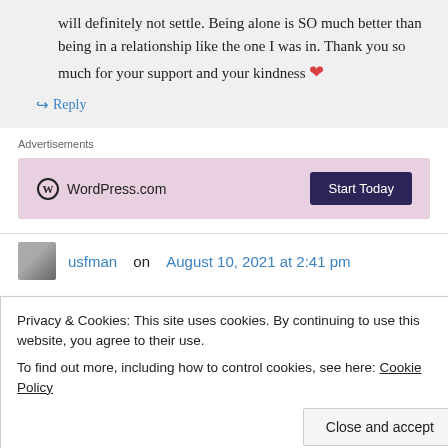will definitely not settle. Being alone is SO much better than being in a relationship like the one I was in. Thank you so much for your support and your kindness ❤
↪ Reply
Advertisements
[Figure (screenshot): WordPress.com advertisement banner with pink/mauve background, WordPress logo on left and 'Start Today' dark button on right]
usfman on August 10, 2021 at 2:41 pm
Privacy & Cookies: This site uses cookies. By continuing to use this website, you agree to their use.
To find out more, including how to control cookies, see here: Cookie Policy
Close and accept